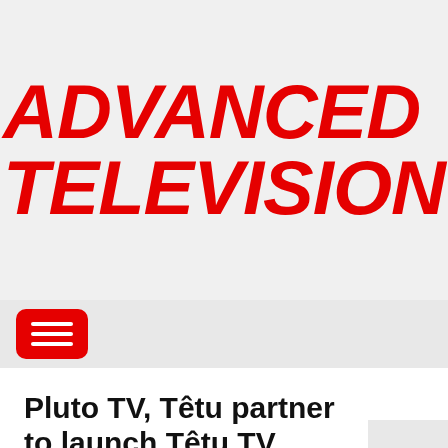[Figure (logo): Advanced Television logo — red bold italic text on light grey background reading ADVANCED TELEVISION]
[Figure (other): Navigation bar with red hamburger menu button containing three white horizontal lines]
Pluto TV, Têtu partner to launch Têtu TV
June 1, 2022